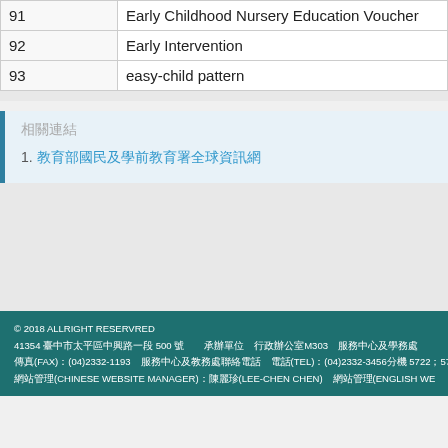|  |  |
| --- | --- |
| 91 | Early Childhood Nursery Education Voucher |
| 92 | Early Intervention |
| 93 | easy-child pattern |
相關連結
1. 教育部國民及學前教育署全球資訊網
© 2018 ALLRIGHT RESERVRED
41354 臺中市太平區中興路一段 500 號　　承辦單位　行政辦公室M303　服務中心及學務處
傳真(FAX)：(04)2332-1193　服務中心及教務處聯絡電話　電話(TEL)：(04)2332-3456分機 5722；5721　E-MAIL
網站管理(CHINESE WEBSITE MANAGER)：陳麗珍(LEE-CHEN CHEN)　網站管理(ENGLISH WE